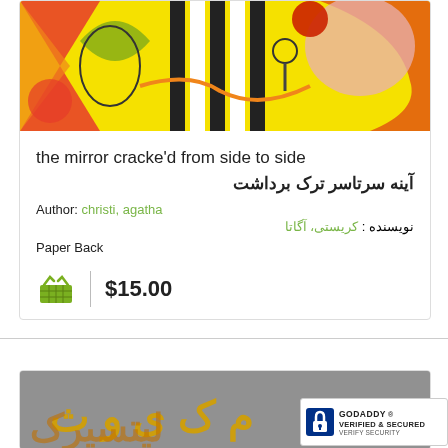[Figure (photo): Book cover with yellow background and abstract colorful art design]
the mirror cracke'd from side to side
آینه سرتاسر ترک برداشت
Author: christi, agatha
نویسنده : کریستی، آگاتا
Paper Back
$15.00
[Figure (photo): Partial book cover with gray and yellow/orange text visible at bottom]
[Figure (logo): GoDaddy Verified and Secured badge]